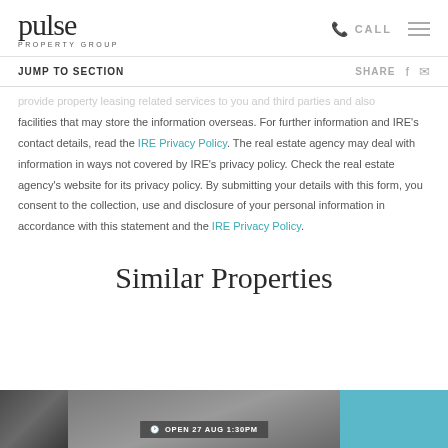pulse PROPERTY GROUP | CALL | menu
JUMP TO SECTION | SHARE
provide property leasing related services to you and third parties and also facilities that may store the information overseas. For further information and IRE's contact details, read the IRE Privacy Policy. The real estate agency may deal with information in ways not covered by IRE's privacy policy. Check the real estate agency's website for its privacy policy. By submitting your details with this form, you consent to the collection, use and disclosure of your personal information in accordance with this statement and the IRE Privacy Policy.
Similar Properties
[Figure (photo): Three property listing thumbnails at the bottom of the page. Left: dark/grey building photo. Center: main listing photo with 'OPEN 27 AUG 1:30PM' badge. Right: blue/teal colored building photo.]